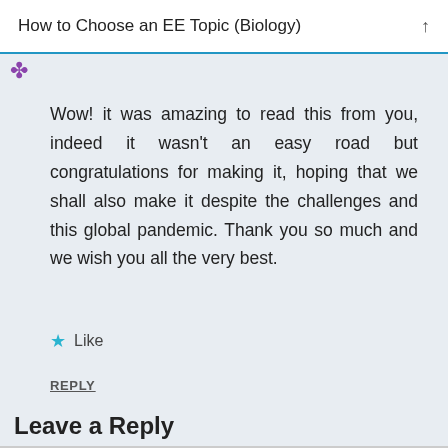How to Choose an EE Topic (Biology)
Wow! it was amazing to read this from you, indeed it wasn't an easy road but congratulations for making it, hoping that we shall also make it despite the challenges and this global pandemic. Thank you so much and we wish you all the very best.
Like
REPLY
Leave a Reply